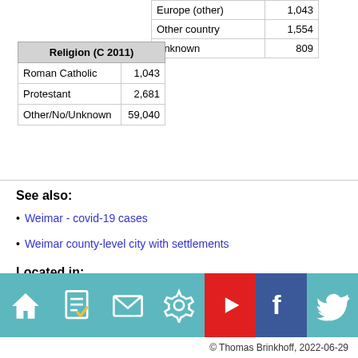|  |  |
| --- | --- |
| Europe (other) | 1,043 |
| Other country | 1,554 |
| Unknown | 809 |
| Religion (C 2011) |  |
| --- | --- |
| Roman Catholic | 1,043 |
| Protestant | 2,681 |
| Other/No/Unknown | 59,040 |
See also:
Weimar - covid-19 cases
Weimar county-level city with settlements
Located in:
Thüringen state
[Figure (infographic): Icon bar with 7 icons: home, document/checklist, mail, settings/gear, play (YouTube, red background), Facebook (dark blue background), Twitter (teal background)]
© Thomas Brinkhoff, 2022-06-29